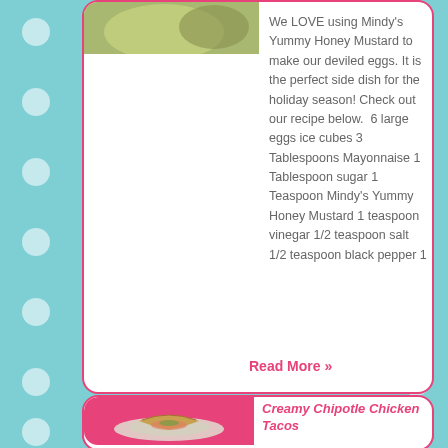[Figure (photo): Photo of deviled eggs dish, partially visible at top of card]
We LOVE using Mindy's Yummy Honey Mustard to make our deviled eggs. It is the perfect side dish for the holiday season! Check out our recipe below.  6 large eggs ice cubes 3 Tablespoons Mayonnaise 1 Tablespoon sugar 1 Teaspoon Mindy's Yummy Honey Mustard 1 teaspoon vinegar 1/2 teaspoon salt 1/2 teaspoon black pepper 1
Read More »
[Figure (photo): Photo of Creamy Chipotle Chicken Tacos on a plate, on a pink background]
Creamy Chipotle Chicken Tacos
Want to spice up your taco